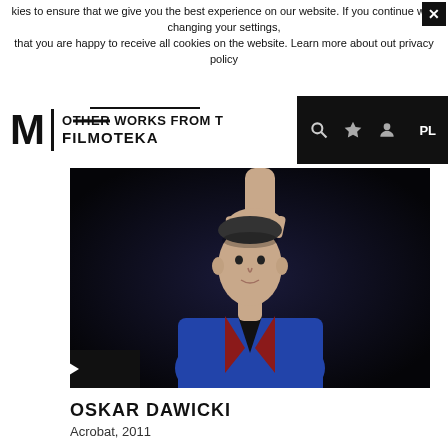kies to ensure that we give you the best experience on our website. If you continue with changing your settings, that you are happy to receive all cookies on the website. Learn more about out privacy policy
OTHER WORKS FROM THE FILMOTEKA
[Figure (photo): A man in a blue blazer with red lapels, sitting while a hand from above rests on top of his head. Dark background. Film still or artistic video frame.]
OSKAR DAWICKI
Acrobat, 2011